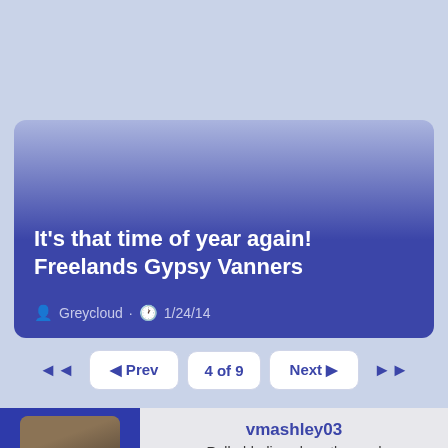[Figure (screenshot): Social platform post card with gradient background (light blue to dark blue/purple). Shows post title and metadata.]
It's that time of year again! Freelands Gypsy Vanners
Greycloud · 1/24/14
◄◄   ◄ Prev   4 of 9   Next ►   ►►
vmashley03
Rollerblading along the road
Mayor of the Avenue   Avenue Spotlight Award